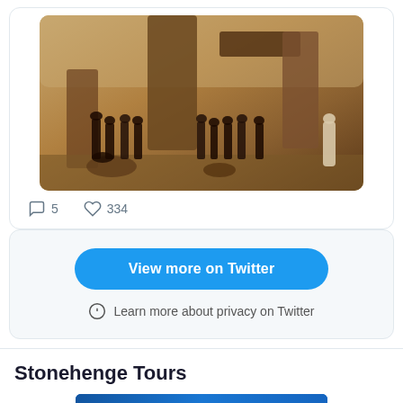[Figure (photo): Sepia-toned historical photograph of a group of Victorian-era people standing among the stones at Stonehenge]
5   334
View more on Twitter
Learn more about privacy on Twitter
Stonehenge Tours
[Figure (photo): Stonehenge Tours banner image with blue background and white text reading STONEHENGE]